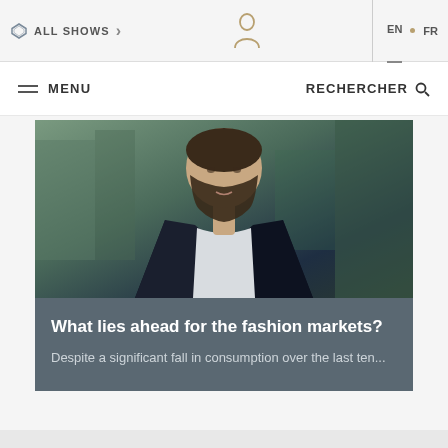ALL SHOWS  >   EN  FR
MENU   RECHERCHER
[Figure (photo): A bearded man in a dark blazer and white shirt, photographed from the chest up, standing in front of a glass building interior.]
What lies ahead for the fashion markets?
Despite a significant fall in consumption over the last ten...